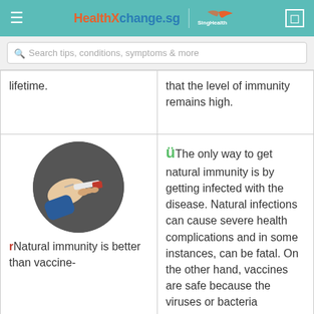HealthXchange.sg | SingHealth
Search tips, conditions, symptoms & more
| lifetime. | that the level of immunity remains high. |
| [image: injection/vaccine illustration]
rNatural immunity is better than vaccine-induced immunity. | üThe only way to get natural immunity is by getting infected with the disease. Natural infections can cause severe health complications and in some instances, can be fatal. On the other hand, vaccines are safe because the viruses or bacteria |
[Figure (illustration): A circular illustration showing hands administering an injection/vaccine with a syringe, on a dark grey background.]